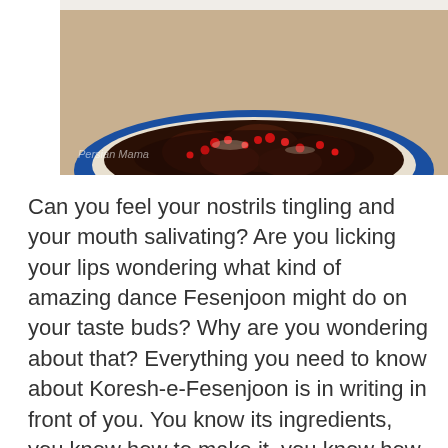[Figure (photo): A close-up photo of Koresh-e-Fesenjoon (Persian walnut and pomegranate stew) served in a blue and white bowl, with a watermark reading 'Persian Mama' in the lower left corner.]
Can you feel your nostrils tingling and your mouth salivating? Are you licking your lips wondering what kind of amazing dance Fesenjoon might do on your taste buds? Why are you wondering about that? Everything you need to know about Koresh-e-Fesenjoon is in writing in front of you. You know its ingredients, you know how to make it, you know how to serve it, and you even have a photo of it.